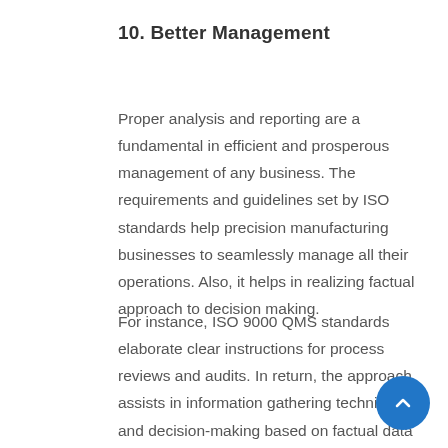10. Better Management
Proper analysis and reporting are a fundamental in efficient and prosperous management of any business. The requirements and guidelines set by ISO standards help precision manufacturing businesses to seamlessly manage all their operations. Also, it helps in realizing factual approach to decision making.
For instance, ISO 9000 QMS standards elaborate clear instructions for process reviews and audits. In return, the approach assists in information gathering techniques and decision-making based on factual data